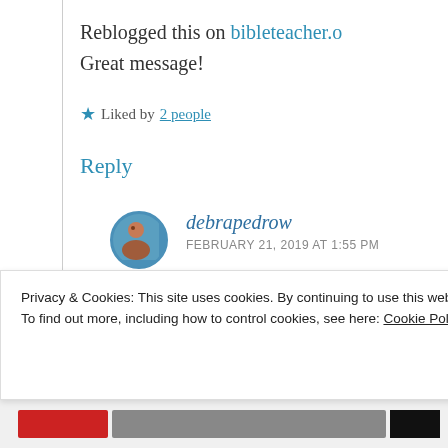Reblogged this on bibleteacher.o
Great message!
★ Liked by 2 people
Reply
debrapedrow
FEBRUARY 21, 2019 AT 1:55 PM
Privacy & Cookies: This site uses cookies. By continuing to use this website, you agree to their use.
To find out more, including how to control cookies, see here: Cookie Policy
Close and accept